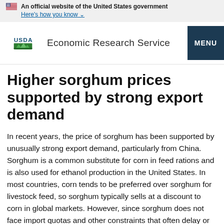An official website of the United States government
Here's how you know
USDA Economic Research Service MENU
Higher sorghum prices supported by strong export demand
In recent years, the price of sorghum has been supported by unusually strong export demand, particularly from China. Sorghum is a common substitute for corn in feed rations and is also used for ethanol production in the United States. In most countries, corn tends to be preferred over sorghum for livestock feed, so sorghum typically sells at a discount to corn in global markets. However, since sorghum does not face import quotas and other constraints that often delay or restrict shipments of corn and distillers dried grains (DDGS) from entering the greater China...